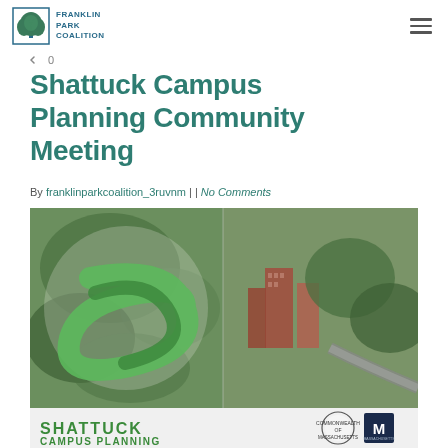Franklin Park Coalition
Shattuck Campus Planning Community Meeting
By franklinparkcoalition_3ruvnm | | No Comments
[Figure (photo): Composite image showing Shattuck Campus planning materials: left half features a green leaf/S-logo graphic over aerial view of wooded area with paths; right half shows aerial photograph of red-brick high-rise buildings surrounded by trees and roads. Bottom strip shows 'SHATTUCK CAMPUS PLANNING' text in green with a Massachusetts state seal and a dark blue logo.]